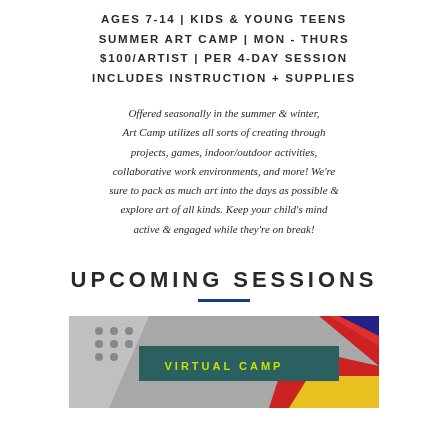AGES 7-14 | KIDS & YOUNG TEENS
SUMMER ART CAMP | MON - THURS
$100/ARTIST | PER 4-DAY SESSION
INCLUDES INSTRUCTION + SUPPLIES
Offered seasonally in the summer & winter, Art Camp utilizes all sorts of creating through projects, games, indoor/outdoor activities, collaborative work environments, and more! We're sure to pack as much art into the days as possible & explore art of all kinds. Keep your child's mind active & engaged while they're on break!
UPCOMING SESSIONS
[Figure (photo): Photo with teal/dark green background showing a pop-art style image with colorful graphics. A yellow-green text label reading 'VIRTUAL CAMP' appears in the center on a dark teal banner.]